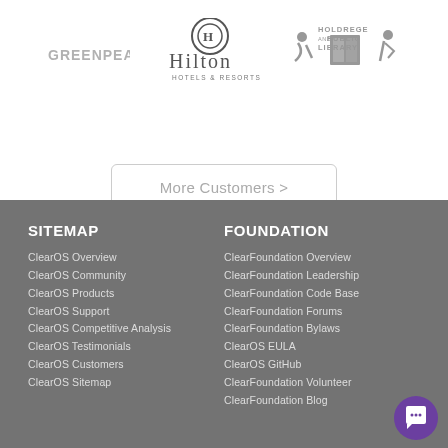[Figure (logo): Greenpeace logo (greyed out)]
[Figure (logo): Hilton Hotels & Resorts logo]
[Figure (logo): Holdrege Public Library logo]
More Customers >
SITEMAP
ClearOS Overview
ClearOS Community
ClearOS Products
ClearOS Support
ClearOS Competitive Analysis
ClearOS Testimonials
ClearOS Customers
ClearOS Sitemap
FOUNDATION
ClearFoundation Overview
ClearFoundation Leadership
ClearFoundation Code Base
ClearFoundation Forums
ClearFoundation Bylaws
ClearOS EULA
ClearOS GitHub
ClearFoundation Volunteer
ClearFoundation Blog